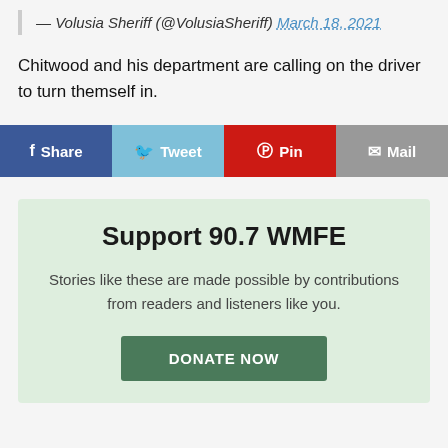— Volusia Sheriff (@VolusiaSheriff) March 18, 2021
Chitwood and his department are calling on the driver to turn themself in.
[Figure (infographic): Social share buttons: Share (Facebook, blue), Tweet (Twitter, light blue), Pin (Pinterest, red), Mail (grey)]
Support 90.7 WMFE
Stories like these are made possible by contributions from readers and listeners like you.
DONATE NOW